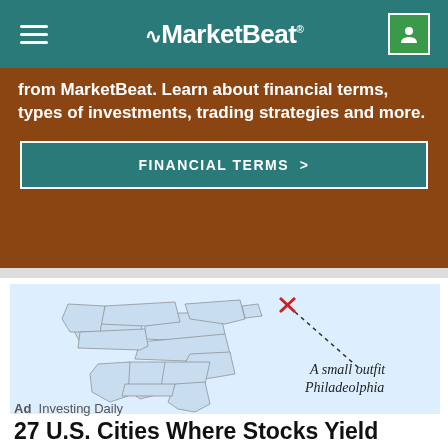MarketBeat
from MarketBeat. Learn about financial terms, types of investments, trading strategies and more.
FINANCIAL TERMS >
[Figure (map): Partial map of eastern United States with a red X marker near Philadelphia and a dotted line pointing to text reading 'A small outfit Philadelphia']
Ad  Investing Daily
27 U.S. Cities Where Stocks Yield